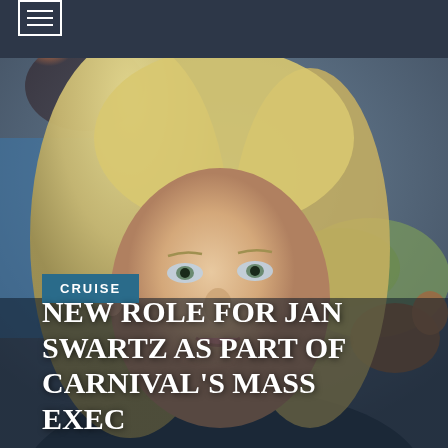[Figure (photo): Close-up photo of a blonde woman speaking or being interviewed, with a colorful blurred background showing posters and greenery]
CRUISE
NEW ROLE FOR JAN SWARTZ AS PART OF CARNIVAL'S MASS EXEC